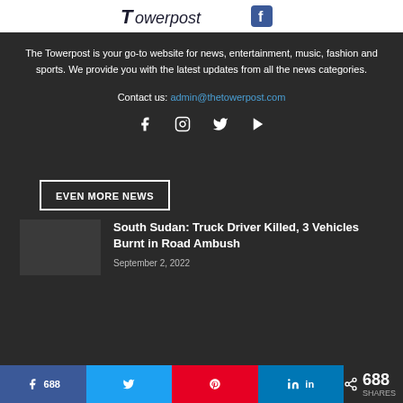[Figure (logo): The Towerpost website logo banner — white background with blue and black logo elements]
The Towerpost is your go-to website for news, entertainment, music, fashion and sports. We provide you with the latest updates from all the news categories.
Contact us: admin@thetowerpost.com
[Figure (other): Social media icons row: Facebook, Instagram, Twitter, YouTube]
EVEN MORE NEWS
South Sudan: Truck Driver Killed, 3 Vehicles Burnt in Road Ambush
September 2, 2022
688  SHARES